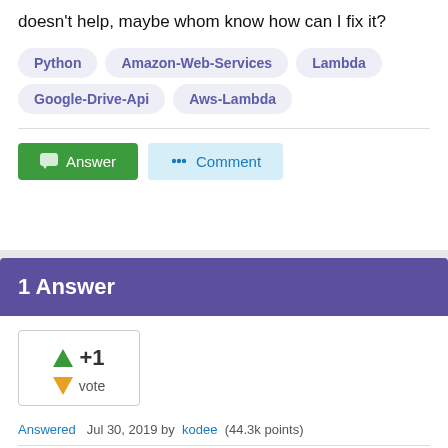doesn't help, maybe whom know how can I fix it?
Python
Amazon-Web-Services
Lambda
Google-Drive-Api
Aws-Lambda
Answer  Comment
1 Answer
+1 vote
Answered Jul 30, 2019 by kodee (44.3k points)
You can...